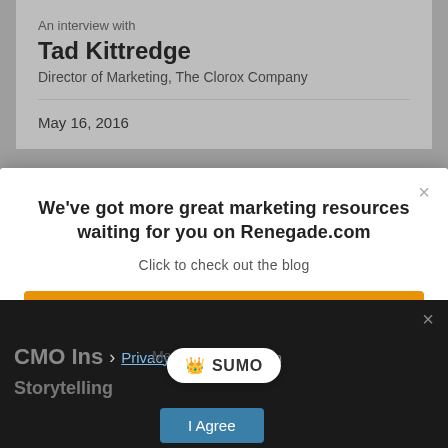An interview with
Tad Kittredge
Director of Marketing, The Clorox Company
May 16, 2016
We've got more great marketing resources waiting for you on Renegade.com
Click to check out the blog
Go to Renegade.com
May 3, 2016
[Figure (logo): SUMO logo badge with crown icon]
Privacy Preferences
CMC Insights from Storytelling
I Agree